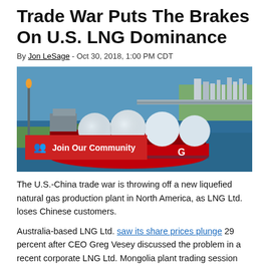Trade War Puts The Brakes On U.S. LNG Dominance
By Jon LeSage - Oct 30, 2018, 1:00 PM CDT
[Figure (photo): Aerial photo of an LNG tanker ship with large white spherical tanks, docked near an LNG facility on a waterway. A red banner overlay reads 'Join Our Community' with a people icon.]
The U.S.-China trade war is throwing off a new liquefied natural gas production plant in North America, as LNG Ltd. loses Chinese customers.
Australia-based LNG Ltd. saw its share prices plunge 29 percent after CEO Greg Vesey discussed the problem in a recent corporate LNG Ltd. Mongolia plant trading session